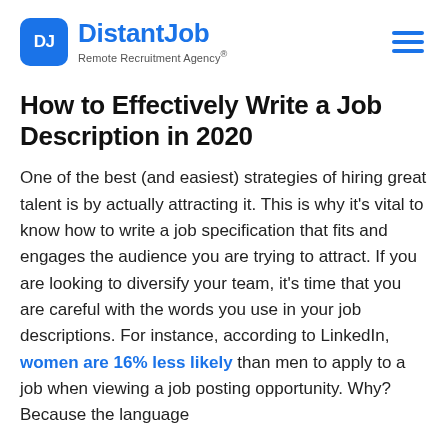DistantJob Remote Recruitment Agency®
How to Effectively Write a Job Description in 2020
One of the best (and easiest) strategies of hiring great talent is by actually attracting it. This is why it's vital to know how to write a job specification that fits and engages the audience you are trying to attract. If you are looking to diversify your team, it's time that you are careful with the words you use in your job descriptions. For instance, according to LinkedIn, women are 16% less likely than men to apply to a job when viewing a job posting opportunity. Why? Because the language